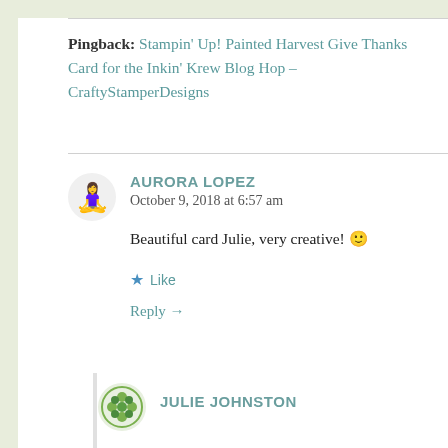Pingback: Stampin' Up! Painted Harvest Give Thanks Card for the Inkin' Krew Blog Hop – CraftyStamperDesigns
AURORA LOPEZ
October 9, 2018 at 6:57 am

Beautiful card Julie, very creative! 🙂

★ Like

Reply →
JULIE JOHNSTON